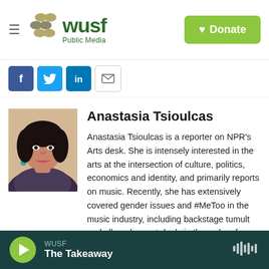WUSF Public Media — Donate
[Figure (logo): WUSF Public Media logo with stylized dots and green lettering, plus a green Donate button]
[Figure (infographic): Social share buttons: Facebook (blue), Twitter (blue), LinkedIn (blue), Email (white/grey)]
[Figure (photo): Headshot photo of Anastasia Tsioulcas, a woman with dark hair]
Anastasia Tsioulcas
Anastasia Tsioulcas is a reporter on NPR's Arts desk. She is intensely interested in the arts at the intersection of culture, politics, economics and identity, and primarily reports on music. Recently, she has extensively covered gender issues and #MeToo in the music industry, including backstage tumult and alleged secret deals in the wake of sexual
WUSF — The Takeaway